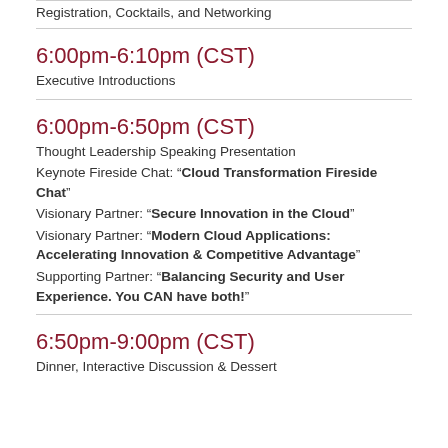Registration, Cocktails, and Networking
6:00pm-6:10pm (CST)
Executive Introductions
6:00pm-6:50pm (CST)
Thought Leadership Speaking Presentation
Keynote Fireside Chat: “Cloud Transformation Fireside Chat”
Visionary Partner: “Secure Innovation in the Cloud”
Visionary Partner: “Modern Cloud Applications: Accelerating Innovation & Competitive Advantage”
Supporting Partner: “Balancing Security and User Experience. You CAN have both!”
6:50pm-9:00pm (CST)
Dinner, Interactive Discussion & Dessert